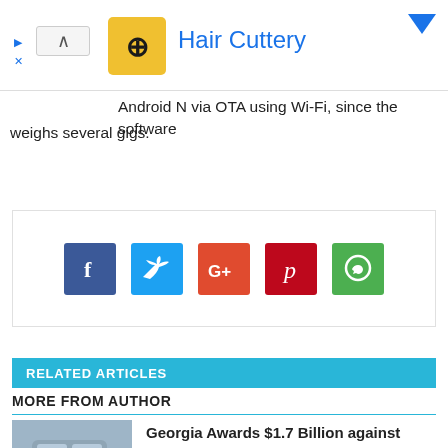[Figure (screenshot): Hair Cuttery advertisement banner with logo, expand/collapse arrow, and close button]
Android N via OTA using Wi-Fi, since the software weighs several gigs.
[Figure (infographic): Social share buttons: Facebook, Twitter, Google+, Pinterest, WhatsApp]
RELATED ARTICLES
MORE FROM AUTHOR
Georgia Awards $1.7 Billion against Ford for Truck Crash; Automaker to Appeal Verdict
Google Rolls Out Helpful Content Update for Search Algorithms Next Week